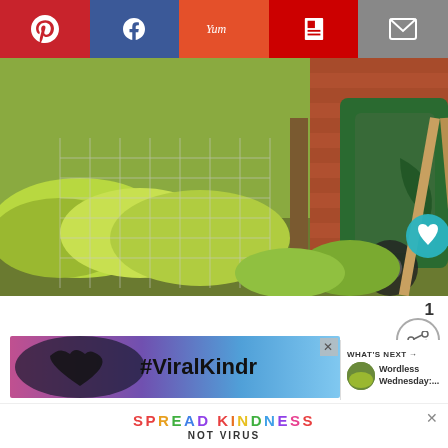[Figure (screenshot): Social media share bar with Pinterest (red), Facebook (blue), Yummly (orange-red), Flipboard (red), and email (gray) buttons]
[Figure (photo): Garden photo showing green plants behind a wire fence, a green wheelbarrow/compost tumbler, and a brick wall in the background. A teal heart/like button is in the lower right corner.]
1
[Figure (screenshot): Advertisement banner showing hands forming a heart shape with text #ViralKindness on a colorful background]
[Figure (screenshot): What's Next panel showing a thumbnail and title 'Wordless Wednesday:...']
Walking around to the back yard, we have a tangerine tree
[Figure (screenshot): Bottom advertisement banner with colorful text SPREAD KINDNESS NOT VIRUS]